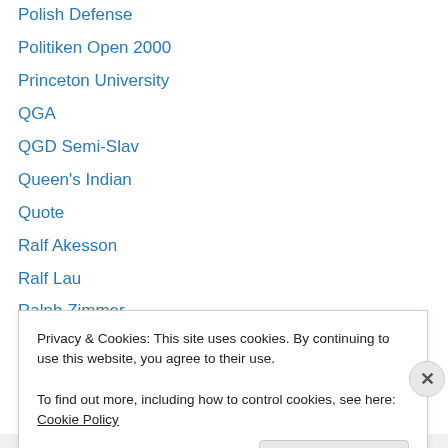Polish Defense
Politiken Open 2000
Princeton University
QGA
QGD Semi-Slav
Queen's Indian
Quote
Ralf Akesson
Ralf Lau
Ralph Zimmer
Rare Pawn Structures
Raymond Keene
Region III Champ 1976
Renzo Mantovani
Privacy & Cookies: This site uses cookies. By continuing to use this website, you agree to their use.
To find out more, including how to control cookies, see here: Cookie Policy